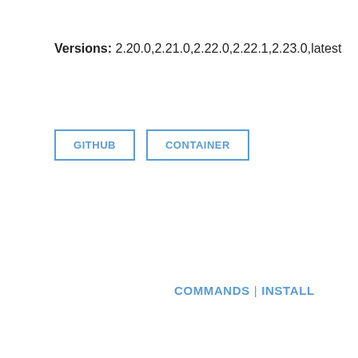Versions: 2.20.0,2.21.0,2.22.0,2.22.1,2.23.0,latest
GITHUB | CONTAINER
COMMANDS | INSTALL
This module is a singularity container wrapper for ghcr.io/autamus/hypre. A library of high performance preconditioners and solvers featuring multigrid methods for the solution of large, sparse linear systems of equations on massively parallel computers.